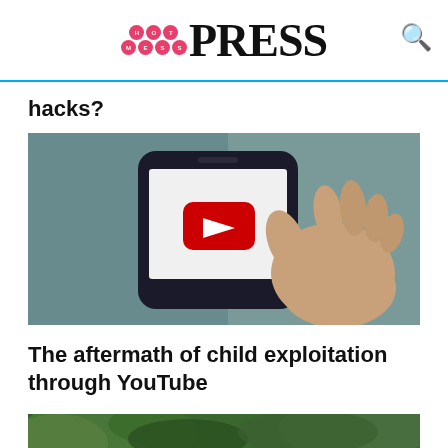Hot Mess Press
hacks?
[Figure (photo): Hand holding a smartphone displaying the YouTube app logo (red play button on white screen), dark blurred background]
The aftermath of child exploitation through YouTube
[Figure (photo): A rocky stream or river with moss-covered rocks, flowing water, and lush green foliage in the background]